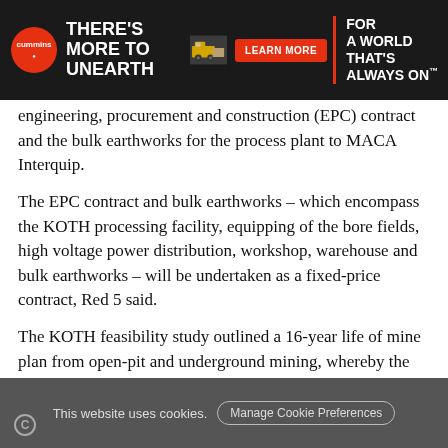[Figure (illustration): Cummins advertisement banner: dark background with Cummins logo on left, tagline 'THERE'S MORE TO UNEARTH', mining truck in center, red 'LEARN MORE' button, and 'FOR A WORLD THAT'S ALWAYS ON' text on right with red slash divider.]
engineering, procurement and construction (EPC) contract and the bulk earthworks for the process plant to MACA Interquip.
The EPC contract and bulk earthworks – which encompass the KOTH processing facility, equipping of the bore fields, high voltage power distribution, workshop, warehouse and bulk earthworks – will be undertaken as a fixed-price contract, Red 5 said.
The KOTH feasibility study outlined a 16-year life of mine plan from open-pit and underground mining, whereby the company would produce 176,000 oz/y of gold over the first six years. The capital cost came in at A$226 million
This website uses cookies.  Manage Cookie Preferences